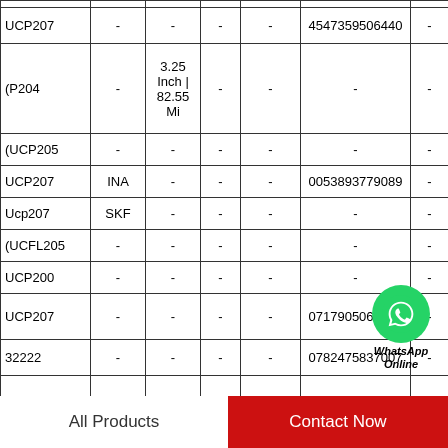| Product | Brand | Col3 | Col4 | Col5 | Col6 | Col7 |
| --- | --- | --- | --- | --- | --- | --- |
| UCP207 | - | - | - | - | 4547359506440 | - |
| (P204 | - | 3.25 Inch | 82.55 Mi | - | - | - | - |
| (UCP205 | - | - | - | - | - | - |
| UCP207 | INA | - | - | - | 0053893779089 | - |
| Ucp207 | SKF | - | - | - | - | - |
| (UCFL205 | - | - | - | - | - | - |
| UCP200 | - | - | - | - | - | - |
| UCP207 | - | - | - | - | 0717905063886 | - |
| 32222 | - | - | - | - | 0782475837007 | - |
| 204 | Asahi | - | - | 2.32 Inch | 58.928 M | - | - |
[Figure (other): WhatsApp Online contact overlay with green WhatsApp icon circle and italic bold text 'WhatsApp Online']
All Products    Contact Now